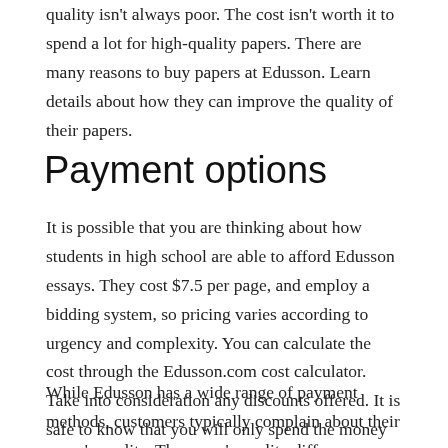quality isn't always poor. The cost isn't worth it to spend a lot for high-quality papers. There are many reasons to buy papers at Edusson. Learn details about how they can improve the quality of their papers.
Payment options
It is possible that you are thinking about how students in high school are able to afford Edusson essays. They cost $7.5 per page, and employ a bidding system, so pricing varies according to urgency and complexity. You can calculate the cost through the Edusson.com cost calculator. Take into consideration any discounts offered. It is safe to know that you will only spend the money you pay for high-end products and not excessive quantity.
While Edusson has a wide range of payment methods, customers typically complain about their paper's quality. The paper's quality differs depending on the company and depending on the experience that the writers have.